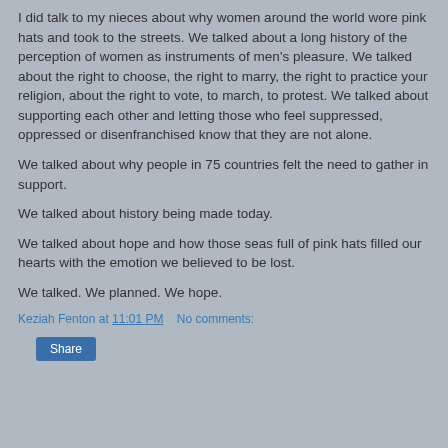I did talk to my nieces about why women around the world wore pink hats and took to the streets. We talked about a long history of the perception of women as instruments of men's pleasure. We talked about the right to choose, the right to marry, the right to practice your religion, about the right to vote, to march, to protest. We talked about supporting each other and letting those who feel suppressed, oppressed or disenfranchised know that they are not alone.
We talked about why people in 75 countries felt the need to gather in support.
We talked about history being made today.
We talked about hope and how those seas full of pink hats filled our hearts with the emotion we believed to be lost.
We talked. We planned. We hope.
Keziah Fenton at 11:01 PM    No comments: